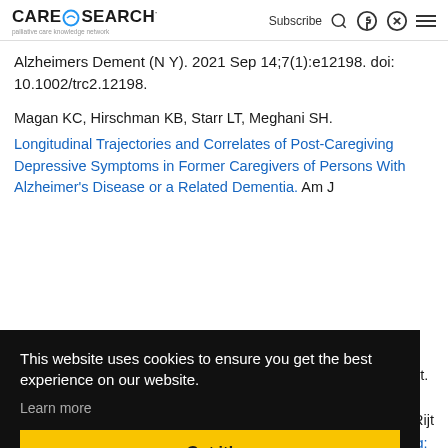CARESEARCH palliative care knowledge network | Subscribe | [icons]
Alzheimers Dement (N Y). 2021 Sep 14;7(1):e12198. doi: 10.1002/trc2.12198.
Magan KC, Hirschman KB, Starr LT, Meghani SH.
Longitudinal Trajectories and Correlates of Post-Caregiving Depressive Symptoms in Former Caregivers of Persons With Alzheimer's Disease or a Related Dementia. Am J ...36. ...f print.
...VM, ...der Rijt ...nning:
framework. Palliat Med. 2021 Sep